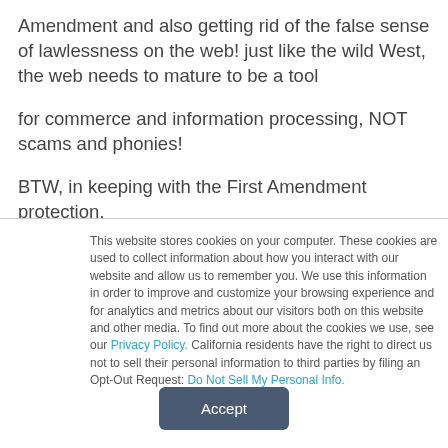Amendment and also getting rid of the false sense of lawlessness on the web! just like the wild West, the web needs to mature to be a tool
for commerce and information processing, NOT scams and phonies!
BTW, in keeping with the First Amendment protection,
This website stores cookies on your computer. These cookies are used to collect information about how you interact with our website and allow us to remember you. We use this information in order to improve and customize your browsing experience and for analytics and metrics about our visitors both on this website and other media. To find out more about the cookies we use, see our Privacy Policy. California residents have the right to direct us not to sell their personal information to third parties by filing an Opt-Out Request: Do Not Sell My Personal Info.
Accept